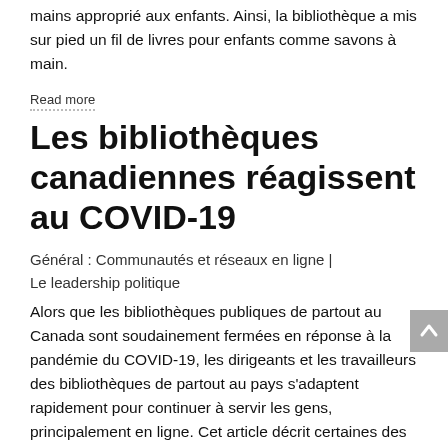mains approprié aux enfants. Ainsi, la bibliothèque a mis sur pied un fil de livres pour enfants comme savons à main.
Read more
Les bibliothèques canadiennes réagissent au COVID-19
Général : Communautés et réseaux en ligne | Le leadership politique
Alors que les bibliothèques publiques de partout au Canada sont soudainement fermées en réponse à la pandémie du COVID-19, les dirigeants et les travailleurs des bibliothèques de partout au pays s'adaptent rapidement pour continuer à servir les gens, principalement en ligne. Cet article décrit certaines des initiatives à travers le pays des bibliothèques ou du personnel de la bibliothèque.